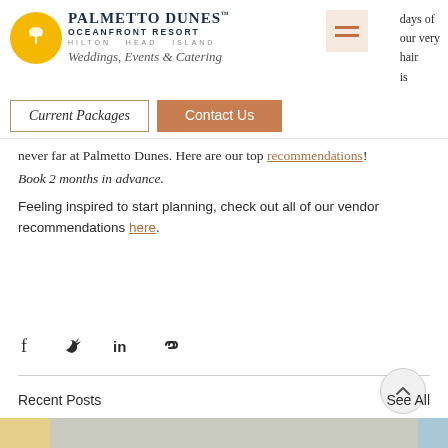Palmetto Dunes Oceanfront Resort – Hilton Head Island – Weddings, Events & Catering
never far at Palmetto Dunes. Here are our top recommendations! Book 2 months in advance.
Feeling inspired to start planning, check out all of our vendor recommendations here.
[Figure (infographic): Social share icons: Facebook, Twitter, LinkedIn, Link]
Recent Posts
See All
[Figure (photo): Recent posts thumbnail images at bottom of page]